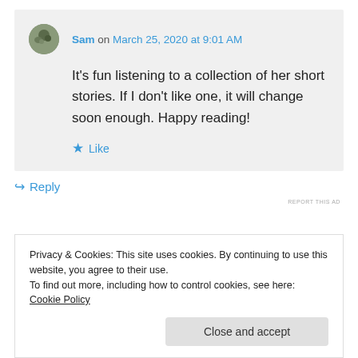Sam on March 25, 2020 at 9:01 AM
It's fun listening to a collection of her short stories. If I don't like one, it will change soon enough. Happy reading!
Like
Reply
REPORT THIS AD
Privacy & Cookies: This site uses cookies. By continuing to use this website, you agree to their use.
To find out more, including how to control cookies, see here: Cookie Policy
Close and accept
Looks like you got some good reading in this